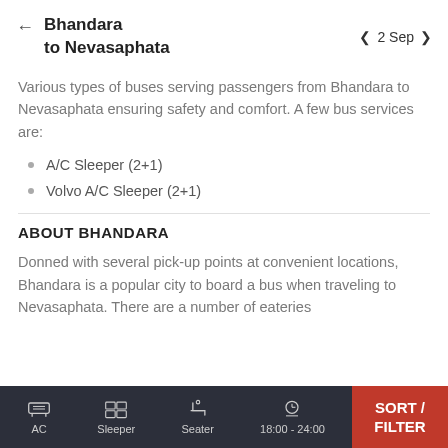Bhandara to Nevasaphata | 2 Sep
Various types of buses serving passengers from Bhandara to Nevasaphata ensuring safety and comfort. A few bus services are:
A/C Sleeper (2+1)
Volvo A/C Sleeper (2+1)
ABOUT BHANDARA
Donned with several pick-up points at convenient locations, Bhandara is a popular city to board a bus when traveling to Nevasaphata. There are a number of eateries
AC | Sleeper | Seater | 18:00 - 24:00 | SORT / FILTER